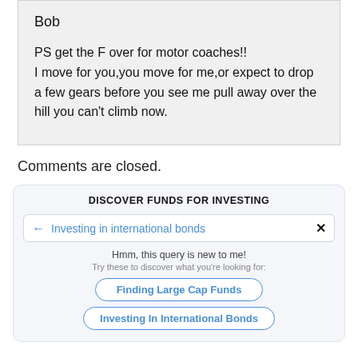Bob

PS get the F over for motor coaches!!
I move for you,you move for me,or expect to drop a few gears before you see me pull away over the hill you can't climb now.
Comments are closed.
DISCOVER FUNDS FOR INVESTING
← Investing in international bonds ✕
Hmm, this query is new to me!
Try these to discover what you're looking for:
Finding Large Cap Funds
Investing In International Bonds